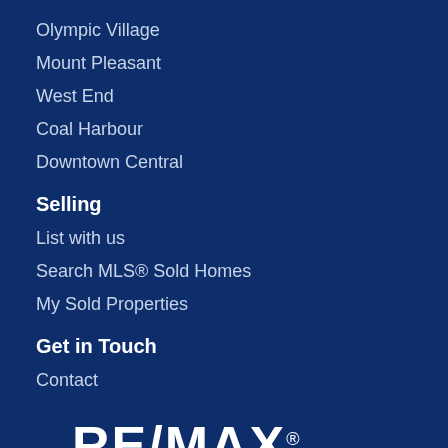Olympic Village
Mount Pleasant
West End
Coal Harbour
Downtown Central
Selling
List with us
Search MLS® Sold Homes
My Sold Properties
Get in Touch
Contact
[Figure (logo): RE/MAX logo in white bold text]
[Figure (illustration): Small circular arrow/back icon]
Satellite Cities Search